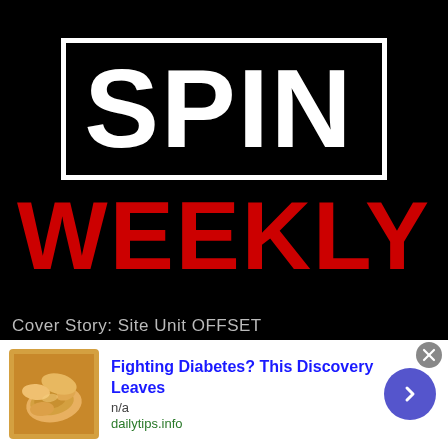[Figure (logo): SPIN WEEKLY magazine logo on black background. A white rectangle border contains the bold white text SPIN. Below in large bold red text: WEEKLY. Partially visible text at bottom: Cover Story: Site Unit OFFSET]
Cover Story: Site Unit OFFSET
[Figure (infographic): Advertisement banner at bottom of page. Features a photo of cashew nuts on the left, text 'Fighting Diabetes? This Discovery Leaves' in bold blue, 'n/a' in gray, 'dailytips.info' in green, and a blue circular arrow button on the right. Close (x) button in top-right corner.]
Fighting Diabetes? This Discovery Leaves
n/a
dailytips.info